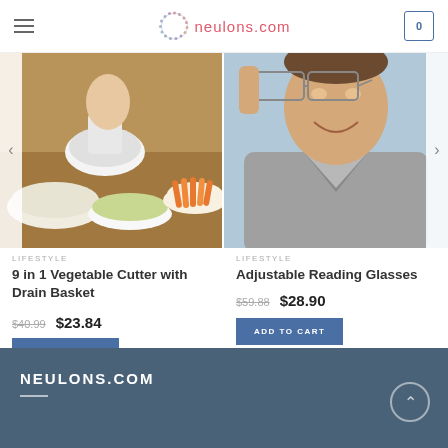neulons.com
[Figure (photo): Kitchen vegetable cutter with shredded vegetables in bowls on wooden surface]
LIFESTYLE
9 in 1 Vegetable Cutter with Drain Basket
$40.99  $23.84
ADD TO CART
[Figure (photo): Man smiling holding glasses up to his face on blue background]
LIFESTYLE
Adjustable Reading Glasses
$59.88  $28.90
ADD TO CART
NEULONS.COM